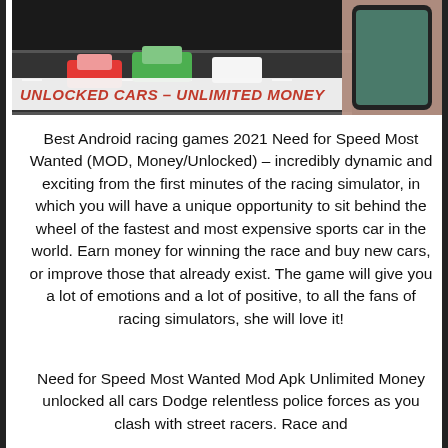[Figure (screenshot): Screenshot of a racing game app showing cars on a track with text 'UNLOCKED CARS - UNLIMITED MONEY' in bold red italic letters on a dark background, partially overlaid by a hand holding a phone]
Best Android racing games 2021 Need for Speed Most Wanted (MOD, Money/Unlocked) – incredibly dynamic and exciting from the first minutes of the racing simulator, in which you will have a unique opportunity to sit behind the wheel of the fastest and most expensive sports car in the world. Earn money for winning the race and buy new cars, or improve those that already exist. The game will give you a lot of emotions and a lot of positive, to all the fans of racing simulators, she will love it!
Need for Speed Most Wanted Mod Apk Unlimited Money unlocked all cars Dodge relentless police forces as you clash with street racers. Race and